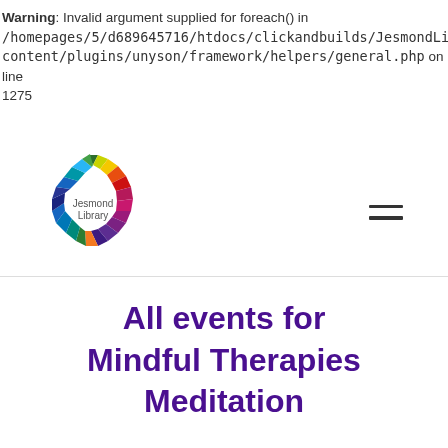Warning: Invalid argument supplied for foreach() in /homepages/5/d689645716/htdocs/clickandbuilds/JesmondLibrary content/plugins/unyson/framework/helpers/general.php on line 1275
[Figure (logo): Jesmond Library logo — colorful radial segments forming a circle, with text 'Jesmond Library' in the center]
All events for Mindful Therapies Meditation